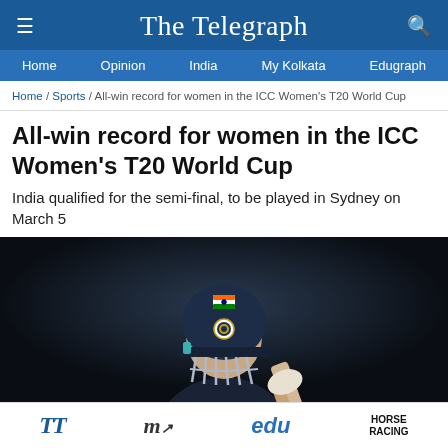The Telegraph
Home / Opinion / India / My Kolkata / Edugraph
Home / Sports / All-win record for women in the ICC Women's T20 World Cup
All-win record for women in the ICC Women's T20 World Cup
India qualified for the semi-final, to be played in Sydney on March 5
[Figure (photo): Indian women's cricket player wearing dark navy blue helmet with BCCI logo and Indian flag badge, holding bat, against dark background]
TT | My | edu | HORSE RACING